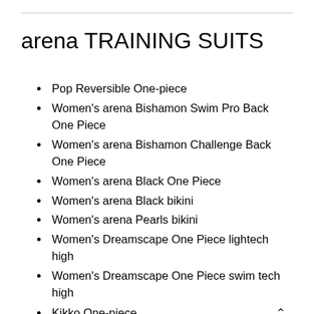arena TRAINING SUITS
Pop Reversible One-piece
Women's arena Bishamon Swim Pro Back One Piece
Women's arena Bishamon Challenge Back One Piece
Women's arena Black One Piece
Women's arena Black bikini
Women's arena Pearls bikini
Women's Dreamscape One Piece lightech high
Women's Dreamscape One Piece swim tech high
Kikko One-piece
Crazy Labyrinth One-piece
Flex One-piece